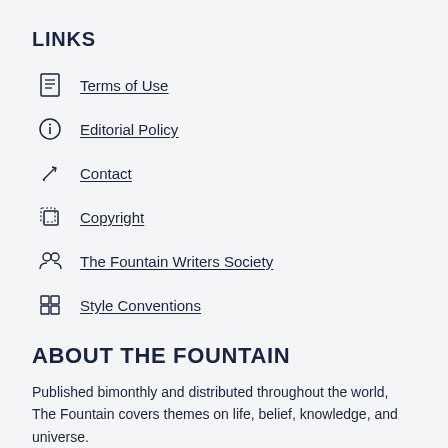LINKS
Terms of Use
Editorial Policy
Contact
Copyright
The Fountain Writers Society
Style Conventions
ABOUT THE FOUNTAIN
Published bimonthly and distributed throughout the world, The Fountain covers themes on life, belief, knowledge, and universe.
MORE